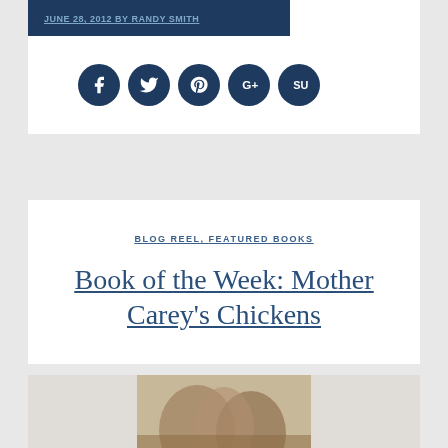JUNE 28, 2012 BY RANDY SMITH
[Figure (infographic): Row of five social media icon circles (Facebook, Twitter, Pinterest, Google+, StumbleUpon) in dark navy blue on white background]
BLOG REEL, FEATURED BOOKS
Book of the Week: Mother Carey's Chickens
[Figure (photo): Partial view of a book cover image at the bottom of the page, showing illustrated faces in an aged/sepia style]